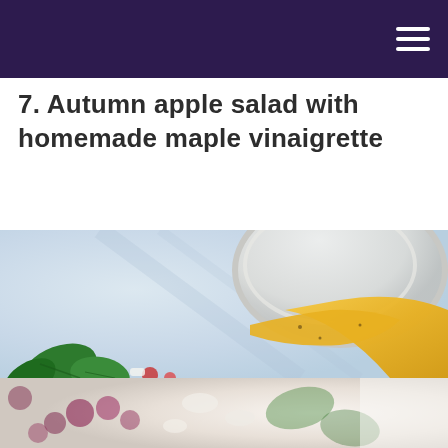7. Autumn apple salad with homemade maple vinaigrette
[Figure (photo): Close-up photo of a glass jar tipped sideways pouring golden-yellow maple vinaigrette dressing, with green salad leaves and mixed salad ingredients visible in the lower left, against a light blue-grey background.]
[Figure (photo): Partial view of a salad with mixed greens, red grapes, and white cheese crumbles at the bottom of the page, with blurred/soft focus and bright lighting.]